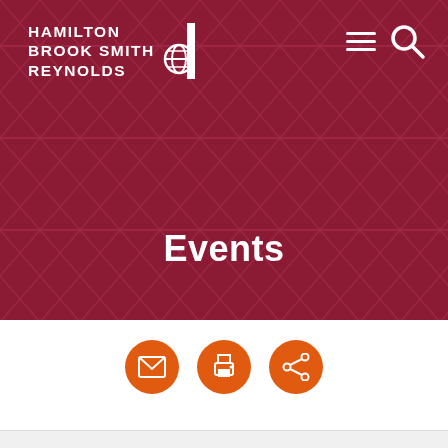[Figure (screenshot): Hamilton Brook Smith Reynolds law firm website header with maroon/dark red background featuring geometric triangle pattern, firm logo top left, navigation icons top right, and 'Events' page title centered]
Events
[Figure (infographic): Three orange circular social sharing buttons: email, print/document, and share icons]
[Figure (screenshot): Bottom partial content bar with gray background]